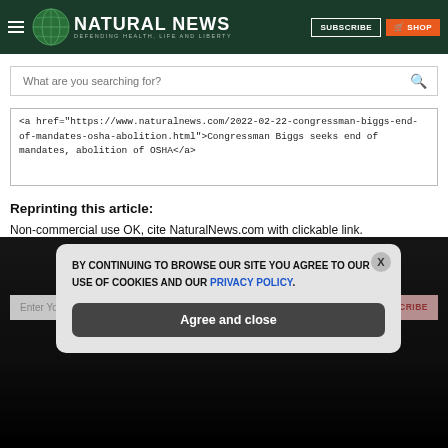NATURAL NEWS — DEFENDING HEALTH, LIFE AND LIBERTY | SUBSCRIBE | SHOP
What are you searching for?
<a href="https://www.naturalnews.com/2022-02-22-congressman-biggs-end-of-mandates-osha-abolition.html">Congressman Biggs seeks end of mandates, abolition of OSHA</a>
Reprinting this article:
Non-commercial use OK, cite NaturalNews.com with clickable link.
GET THE WORLD'S BEST NATURAL HEALTH NEWSLETTER DELIVERED STRAIGHT TO YOUR INBOX
BY CONTINUING TO BROWSE OUR SITE YOU AGREE TO OUR USE OF COOKIES AND OUR PRIVACY POLICY.
Agree and close